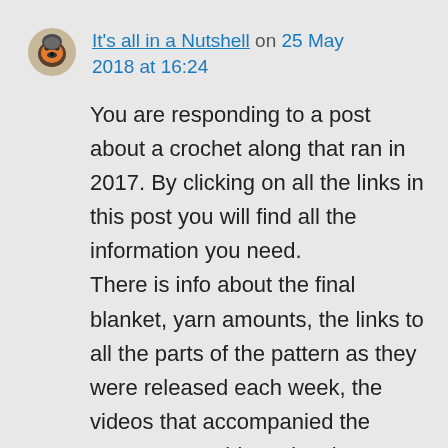[Figure (photo): Small circular avatar icon showing a cartoon animal/hedgehog character]
It's all in a Nutshell on 25 May 2018 at 16:24
You are responding to a post about a crochet along that ran in 2017. By clicking on all the links in this post you will find all the information you need. There is info about the final blanket, yarn amounts, the links to all the parts of the pattern as they were released each week, the videos that accompanied the pattern, etc. This project is a